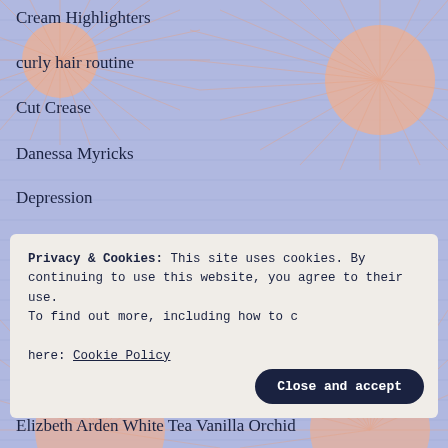Cream Highlighters
curly hair routine
Cut Crease
Danessa Myricks
Depression
Dramatic Cut Crease
Dupe Alert
ELF Cosmetics
ELF Earth and Ocean Palette
ELF Electric Mood Palette
Privacy & Cookies: This site uses cookies. By continuing to use this website, you agree to their use. To find out more, including how to c here: Cookie Policy
Elizbeth Arden White Tea Vanilla Orchid